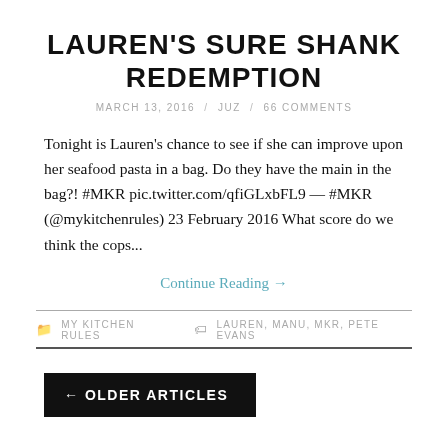LAUREN'S SURE SHANK REDEMPTION
MARCH 13, 2016 / JUZ / 66 COMMENTS
Tonight is Lauren's chance to see if she can improve upon her seafood pasta in a bag. Do they have the main in the bag?! #MKR pic.twitter.com/qfiGLxbFL9 — #MKR (@mykitchenrules) 23 February 2016 What score do we think the cops...
Continue Reading →
MY KITCHEN RULES   LAUREN, MANU, MKR, PETE EVANS
← OLDER ARTICLES